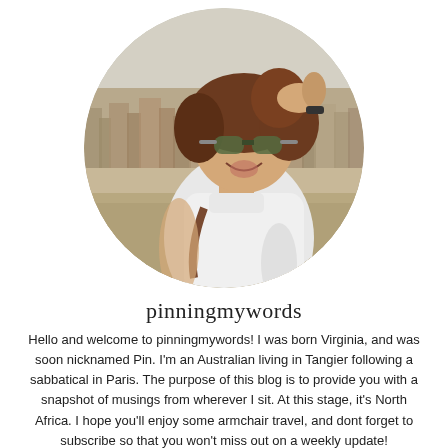[Figure (photo): Circular profile photo of a woman smiling and laughing, holding her hair back, wearing sunglasses and a white shirt, with a cityscape (Cairo/North Africa city) in the background on a hazy day.]
pinningmywords
Hello and welcome to pinningmywords! I was born Virginia, and was soon nicknamed Pin. I'm an Australian living in Tangier following a sabbatical in Paris. The purpose of this blog is to provide you with a snapshot of musings from wherever I sit. At this stage, it's North Africa. I hope you'll enjoy some armchair travel, and dont forget to subscribe so that you won't miss out on a weekly update!
View Full Profile →